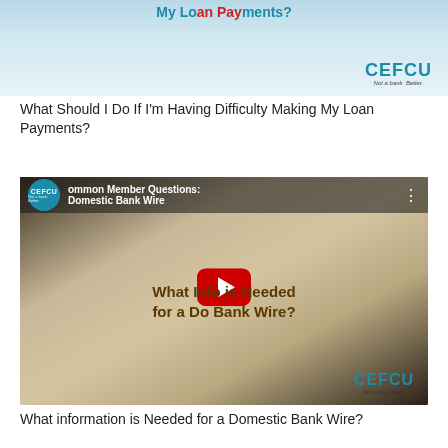[Figure (screenshot): CEFCU video thumbnail showing 'My Loan Payments?' title in teal and red with CEFCU logo]
What Should I Do If I'm Having Difficulty Making My Loan Payments?
[Figure (screenshot): YouTube video thumbnail for CEFCU video titled 'What Information is Needed for a Domestic Bank Wire?' with play button overlay and CEFCU logo]
What information is Needed for a Domestic Bank Wire?